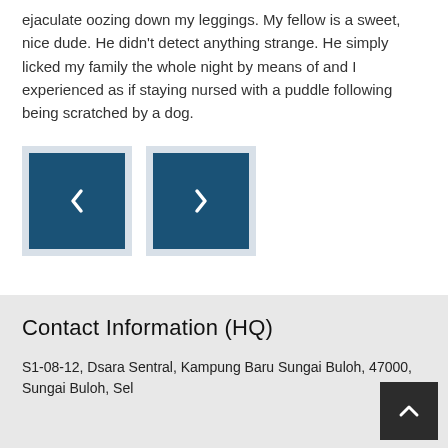ejaculate oozing down my leggings. My fellow is a sweet, nice dude. He didn't detect anything strange. He simply licked my family the whole night by means of and I experienced as if staying nursed with a puddle following being scratched by a dog.
[Figure (other): Two navigation buttons (previous and next) with left and right chevron arrows on dark teal/navy background with light gray border]
Contact Information (HQ)
S1-08-12, Dsara Sentral, Kampung Baru Sungai Buloh, 47000, Sungai Buloh, Selangor